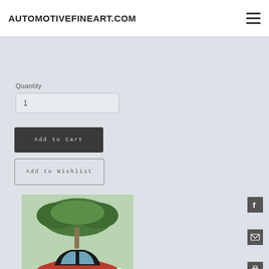AUTOMOTIVEFINEART.COM
FRAMED SMALL (CALL FOR CURRENT PRICES)
UNFRAMED LARGE $199.95
FRAMED LARGE (CALL FOR CURRENT PRICES)
Quantity
1
Add to Cart
Add to Wishlist
[Figure (photo): Classic vintage car (pink/red) with palm trees in background, automotive fine art illustration]